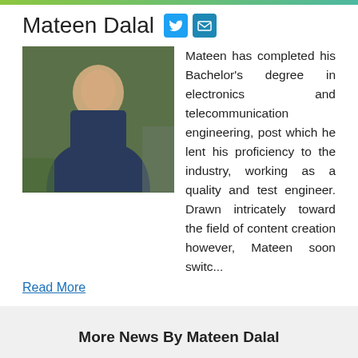Mateen Dalal
[Figure (photo): Profile photo of Mateen Dalal, a young man in a navy blue sweater standing outdoors near a car and trees]
Mateen has completed his Bachelor's degree in electronics and telecommunication engineering, post which he lent his proficiency to the industry, working as a quality and test engineer. Drawn intricately toward the field of content creation however, Mateen soon switc...
Read More
More News By Mateen Dalal
Digital wellness startup Mojorcare bags USD 20 Mn in Series A funding
By Mateen Dalal
[Figure (photo): People working at a desk with laptops and notebooks in an office setting]